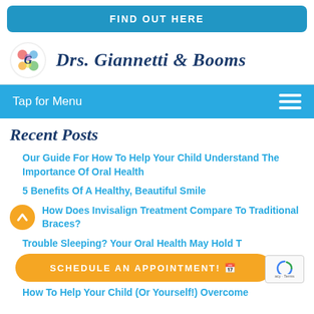FIND OUT HERE
[Figure (logo): Drs. Giannetti & Booms practice logo with colorful circular emblem and dark blue serif text]
Tap for Menu
Recent Posts
Our Guide For How To Help Your Child Understand The Importance Of Oral Health
5 Benefits Of A Healthy, Beautiful Smile
How Does Invisalign Treatment Compare To Traditional Braces?
Trouble Sleeping? Your Oral Health May Hold T
How To Help Your Child (Or Yourself!) Overcome
SCHEDULE AN APPOINTMENT!